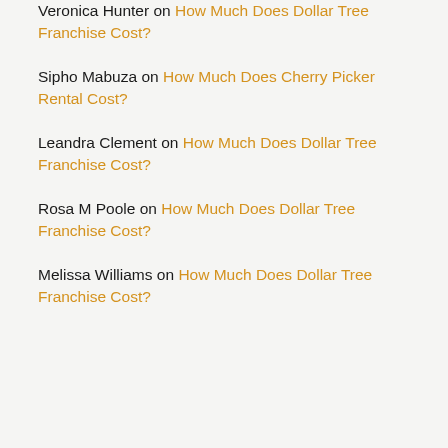Veronica Hunter on How Much Does Dollar Tree Franchise Cost?
Sipho Mabuza on How Much Does Cherry Picker Rental Cost?
Leandra Clement on How Much Does Dollar Tree Franchise Cost?
Rosa M Poole on How Much Does Dollar Tree Franchise Cost?
Melissa Williams on How Much Does Dollar Tree Franchise Cost?